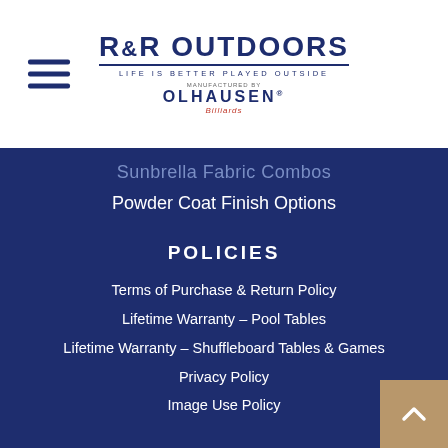R&R OUTDOORS — LIFE IS BETTER PLAYED OUTSIDE — MANUFACTURED BY OLHAUSEN
Sunbrella Fabric Combos
Powder Coat Finish Options
POLICIES
Terms of Purchase & Return Policy
Lifetime Warranty – Pool Tables
Lifetime Warranty – Shuffleboard Tables & Games
Privacy Policy
Image Use Policy